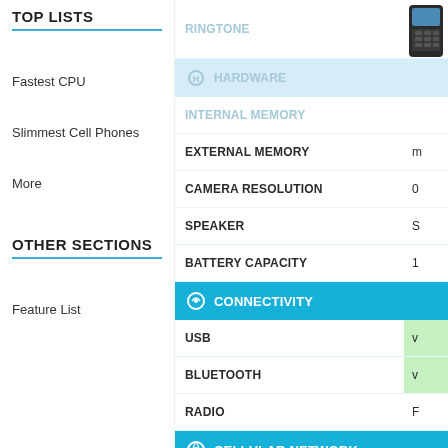TOP LISTS
Fastest CPU
Slimmest Cell Phones
More
OTHER SECTIONS
Feature List
Embed Data Table
| Feature | Value |
| --- | --- |
| RINGTONE |  |
| HARDWARE |  |
| INTERNAL MEMORY |  |
| EXTERNAL MEMORY | m |
| CAMERA RESOLUTION | 0 |
| SPEAKER | S |
| BATTERY CAPACITY | 1 |
| CONNECTIVITY |  |
| USB | v |
| BLUETOOTH | v |
| RADIO | F |
| CELLULAR NETWORK |  |
| NETWORK COMPATIBILITY | G |
| SIM CARDS | M |
| GPRS | C |
| OPERATORS |  |
| WORLD COMPATIBILITY |  |